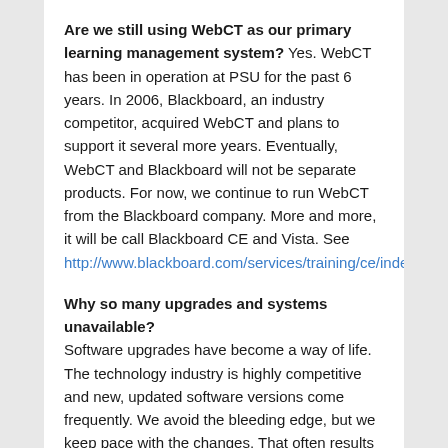Are we still using WebCT as our primary learning management system? Yes. WebCT has been in operation at PSU for the past 6 years. In 2006, Blackboard, an industry competitor, acquired WebCT and plans to support it several more years. Eventually, WebCT and Blackboard will not be separate products. For now, we continue to run WebCT from the Blackboard company. More and more, it will be call Blackboard CE and Vista. See http://www.blackboard.com/services/training/ce/index).
Why so many upgrades and systems unavailable? Software upgrades have become a way of life. The technology industry is highly competitive and new, updated software versions come frequently. We avoid the bleeding edge, but we keep pace with the changes. That often results in impact to users. Our goal is always to keep you informed, minimize the down times and look for periods during the year that are least disruptive to your work. We plan most of our upgrades during semester breaks. We also have a weekly maintenance window